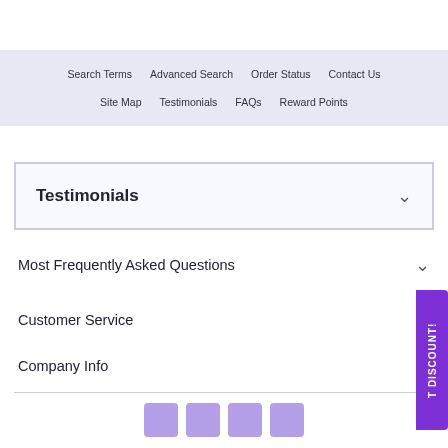Search Terms  Advanced Search  Order Status  Contact Us  Site Map  Testimonials  FAQs  Reward Points
Testimonials
Most Frequently Asked Questions
Customer Service
Company Info